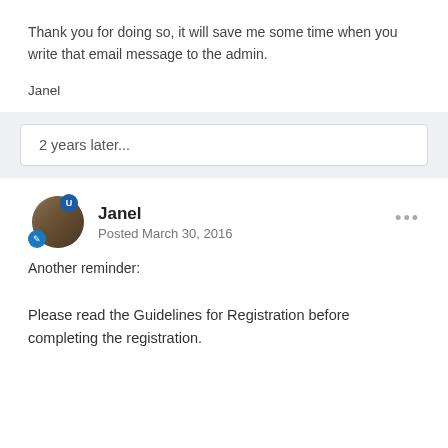Thank you for doing so, it will save me some time when you write that email message to the admin.
Janel
2 years later...
Janel
Posted March 30, 2016
Another reminder:
Please read the Guidelines for Registration before completing the registration.